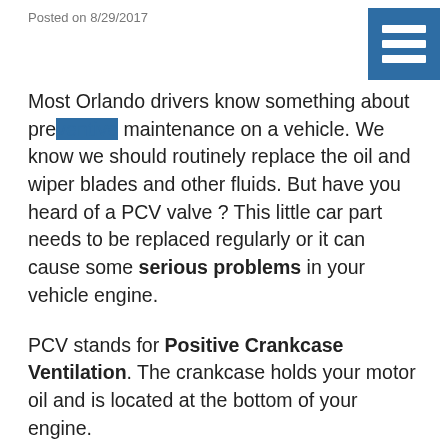Posted on 8/29/2017
Most Orlando drivers know something about preventive maintenance on a vehicle. We know we should routinely replace the oil and wiper blades and other fluids. But have you heard of a PCV valve ? This little car part needs to be replaced regularly or it can cause some serious problems in your vehicle engine.
PCV stands for Positive Crankcase Ventilation. The crankcase holds your motor oil and is located at the bottom of your engine.
When fuel is burned in your engine, it produces waste gases that are mostly vented out through your exhaust system. But some of these gases push their way past the pistons and into the crankcase. There, these gases can mix with motor oil to produce oil sludge, which can damage vehicle engine parts through corrosion and by